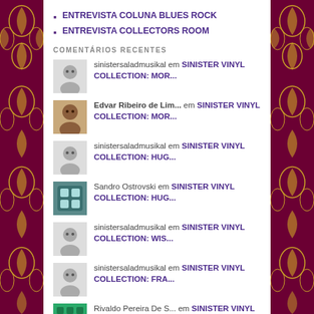ENTREVISTA COLUNA BLUES ROCK
ENTREVISTA COLLECTORS ROOM
COMENTÁRIOS RECENTES
sinistersaladmusikal em SINISTER VINYL COLLECTION: MOR...
Edvar Ribeiro de Lim... em SINISTER VINYL COLLECTION: MOR...
sinistersaladmusikal em SINISTER VINYL COLLECTION: HUG...
Sandro Ostrovski em SINISTER VINYL COLLECTION: HUG...
sinistersaladmusikal em SINISTER VINYL COLLECTION: WIS...
sinistersaladmusikal em SINISTER VINYL COLLECTION: FRA...
Rivaldo Pereira De S... em SINISTER VINYL COLLECTION: WIS...
andre amadio em SINISTER VINYL COLLECTION: FRA...
sinistersaladmusikal em SHOWS SINISTROS #9: SARAMÁ...